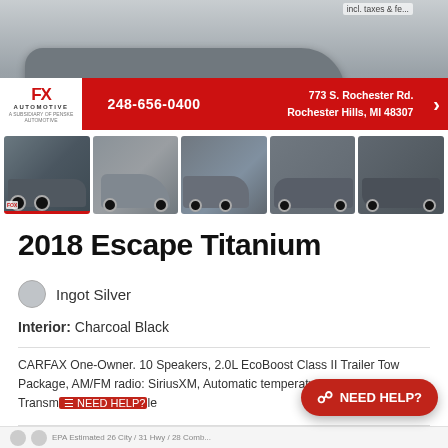[Figure (photo): Main large photo of a 2018 Ford Escape Titanium in Ingot Silver in a parking lot, with Fox Automotive dealer banner overlay showing phone number 248-656-0400 and address 773 S. Rochester Rd., Rochester Hills, MI 48307]
[Figure (photo): Strip of 5 thumbnail photos of the 2018 Ford Escape Titanium from various angles]
2018 Escape Titanium
Ingot Silver
Interior: Charcoal Black
CARFAX One-Owner. 10 Speakers, 2.0L EcoBoost Class II Trailer Tow Package, AM/FM radio: SiriusXM, Automatic temperature control, Auxiliary Transm... le
[Figure (other): NEED HELP? chat button overlay]